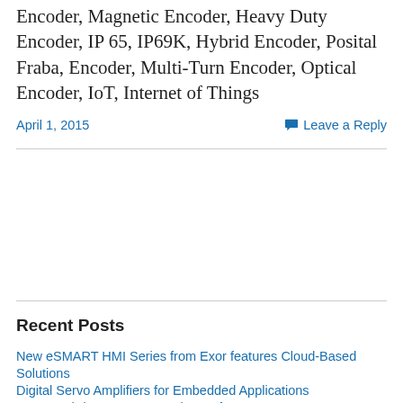Encoder, Magnetic Encoder, Heavy Duty Encoder, IP 65, IP69K, Hybrid Encoder, Posital Fraba, Encoder, Multi-Turn Encoder, Optical Encoder, IoT, Internet of Things
April 1, 2015
Leave a Reply
Recent Posts
New eSMART HMI Series from Exor features Cloud-Based Solutions
Digital Servo Amplifiers for Embedded Applications
New Washdown Servo Gearboxes from Gam
New VLM Servo Motors for value conscious applications